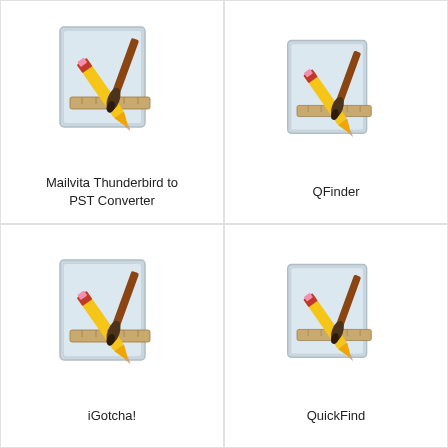[Figure (illustration): Generic document/application icon with pencil, brush, and ruler]
Mailvita Thunderbird to PST Converter
[Figure (illustration): Generic document/application icon with pencil, brush, and ruler]
QFinder
[Figure (illustration): Generic document/application icon with pencil, brush, and ruler]
iGotcha!
[Figure (illustration): Generic document/application icon with pencil, brush, and ruler]
QuickFind